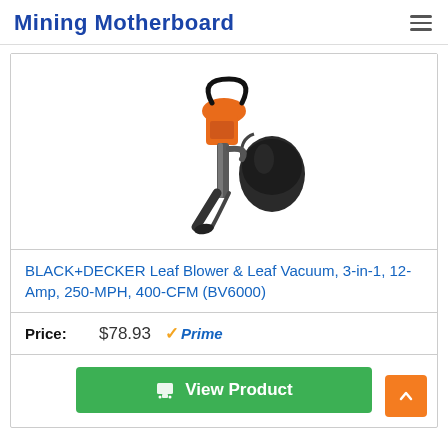Mining Motherboard
[Figure (photo): BLACK+DECKER leaf blower and vacuum product photo showing an orange and black 3-in-1 device with a collection bag]
BLACK+DECKER Leaf Blower & Leaf Vacuum, 3-in-1, 12-Amp, 250-MPH, 400-CFM (BV6000)
Price: $78.93 Prime
View Product